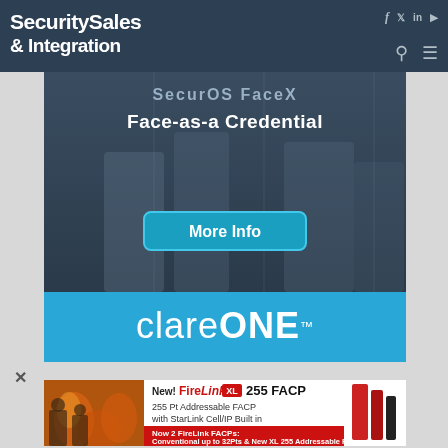Security Sales & Integration
[Figure (screenshot): SecurOS FaceX - Face-as-a Credential advertisement banner with More Info button, showing silhouettes of people walking through corridor]
[Figure (screenshot): clareONE advertisement banner with blue background]
[Figure (screenshot): FireLink XL 255 FACP advertisement - New! FireLink XL 255 FACP, 255 Pt Addressable FACP with StarLink Cell/IP Built in. Now 2 FireLink FACPs: Conventional up to 32Pts & New XL 255 Addressable Pts.]